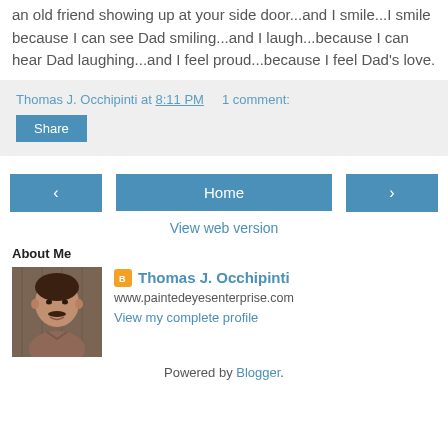an old friend showing up at your side door...and I smile...I smile because I can see Dad smiling...and I laugh...because I can hear Dad laughing...and I feel proud...because I feel Dad's love.
Thomas J. Occhipinti at 8:11 PM   1 comment:
Share
‹   Home   ›
View web version
About Me
[Figure (photo): Profile photo of Thomas J. Occhipinti, a man with dark hair and mustache]
Thomas J. Occhipinti
www.paintedeyesenterprise.com
View my complete profile
Powered by Blogger.